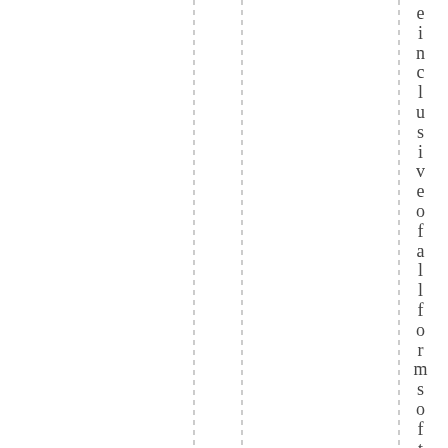e i n c l u s i v e o f a l l f o r m s o f t r a n s p o r